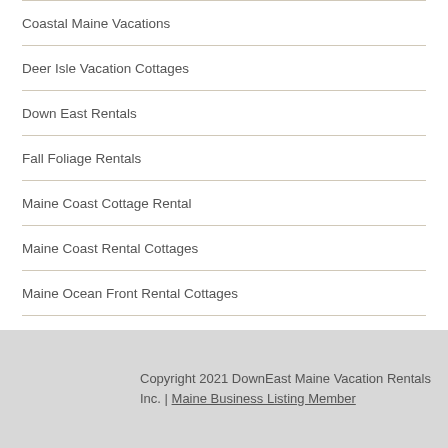Coastal Maine Vacations
Deer Isle Vacation Cottages
Down East Rentals
Fall Foliage Rentals
Maine Coast Cottage Rental
Maine Coast Rental Cottages
Maine Ocean Front Rental Cottages
Sea Side Vacation Cottages
Copyright 2021 DownEast Maine Vacation Rentals Inc. |  Maine Business Listing Member